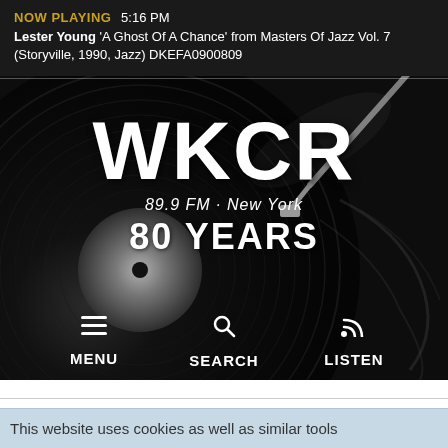NOW PLAYING  5:16 PM
Lester Young 'A Ghost Of A Chance' from Masters Of Jazz Vol. 7 (Storyville, 1990, Jazz) DKEFA0900809
[Figure (photo): Black and white close-up of a vinyl record spinning on a turntable, with the tonearm visible in the upper right. Dark moody background.]
WKCR
89.9 FM · New York
80 YEARS
MENU  SEARCH  LISTEN
This website uses cookies as well as similar tools